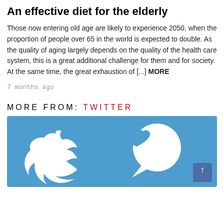An effective diet for the elderly
Those now entering old age are likely to experience 2050, when the proportion of people over 65 in the world is expected to double. As the quality of aging largely depends on the quality of the health care system, this is a great additional challenge for them and for society. At the same time, the great exhaustion of [...] MORE
7 months ago
MORE FROM: TWITTER
[Figure (illustration): Twitter bird logo with a speech bubble containing a heart icon, on a blue background]